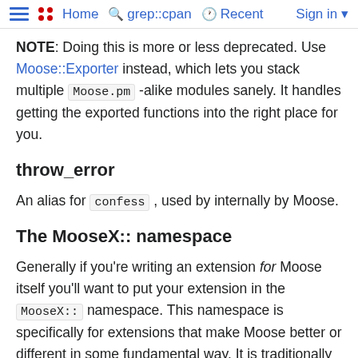Home  grep::cpan  Recent  Sign in
NOTE: Doing this is more or less deprecated. Use Moose::Exporter instead, which lets you stack multiple Moose.pm -alike modules sanely. It handles getting the exported functions into the right place for you.
throw_error
An alias for confess , used by internally by Moose.
The MooseX:: namespace
Generally if you're writing an extension for Moose itself you'll want to put your extension in the MooseX:: namespace. This namespace is specifically for extensions that make Moose better or different in some fundamental way. It is traditionally not for a package that just happens to use Moose. This...